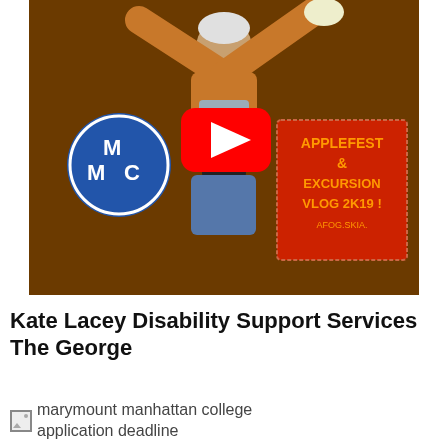[Figure (screenshot): YouTube video thumbnail showing a young woman with arms raised against a dark brown background. There is a blue MMC circle logo on the left and a red box on the right with orange text reading 'APPLEFEST & EXCURSION VLOG 2K19 !' with additional text below. A red YouTube play button is centered on the image.]
Kate Lacey Disability Support Services The George
marymount manhattan college application deadline